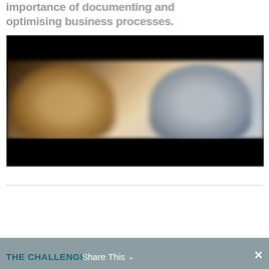importance of documenting and optimising business processes.
[Figure (screenshot): Video thumbnail showing two people in a split-screen view with black letterbox bars at top and bottom. Left person appears to be a woman with light hair, right person appears to be a man in a dark jacket against a light background.]
THE CHALLENGE  Share This  ✕